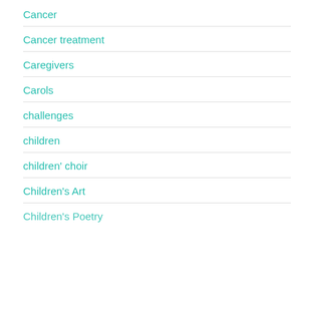Cancer
Cancer treatment
Caregivers
Carols
challenges
children
children' choir
Children's Art
Children's Poetry